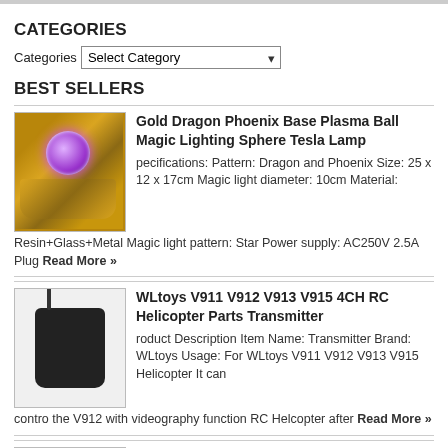CATEGORIES
Categories  Select Category
BEST SELLERS
[Figure (photo): Gold and jeweled dragon phoenix base with glowing purple plasma ball on top]
Gold Dragon Phoenix Base Plasma Ball Magic Lighting Sphere Tesla Lamp
pecifications: Pattern: Dragon and Phoenix Size: 25 x 12 x 17cm Magic light diameter: 10cm Material: Resin+Glass+Metal Magic light pattern: Star Power supply: AC250V 2.5A Plug Read More »
[Figure (photo): RC helicopter transmitter controller in black, shown against light background]
WLtoys V911 V912 V913 V915 4CH RC Helicopter Parts Transmitter
roduct Description Item Name: Transmitter Brand: WLtoys Usage: For WLtoys V911 V912 V913 V915 Helicopter It can contro the V912 with videography function RC Helcopter after Read More »
[Figure (photo): Dark-colored phone screen glass protector product photo, partial view]
Original Explosion-Proof Nano Soft Screen Glass